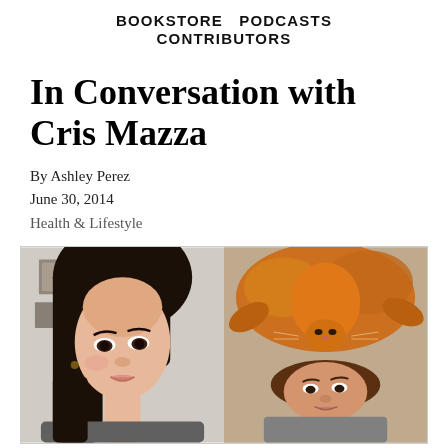BOOKSTORE   PODCASTS   CONTRIBUTORS
In Conversation with Cris Mazza
By Ashley Perez
June 30, 2014
Health & Lifestyle
[Figure (photo): Two photos side by side: left shows a woman with dark hair looking to the side, right shows a woman lying on the floor with a large orange cat on her head, viewed from above.]